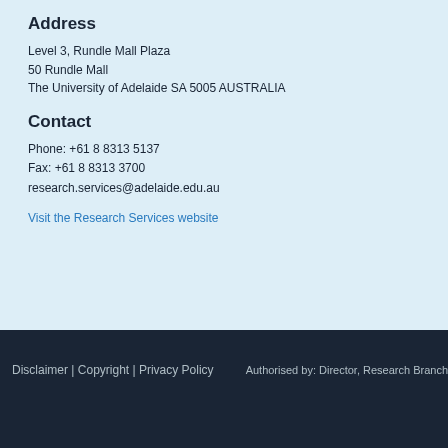Address
Level 3, Rundle Mall Plaza
50 Rundle Mall
The University of Adelaide SA 5005 AUSTRALIA
Contact
Phone: +61 8 8313 5137
Fax: +61 8 8313 3700
research.services@adelaide.edu.au
Visit the Research Services website
Disclaimer | Copyright | Privacy Policy
Authorised by: Director, Research Branch